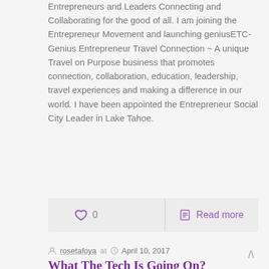Entrepreneurs and Leaders Connecting and Collaborating for the good of all. I am joining the Entrepreneur Movement and launching geniusETC- Genius Entrepreneur Travel Connection ~ A unique Travel on Purpose business that promotes connection, collaboration, education, leadership, travel experiences and making a difference in our world. I have been appointed the Entrepreneur Social City Leader in Lake Tahoe.
0  Read more
rosetafoya at  April 10, 2017
What The Tech Is Going On?
WomenNetwork.com~there are so many technical experts and topics about how to get social and digital exposure for your business, project, or brand. Where do you begin and who do you listen to? We all learn differently and process information at our own pace. In my experience, I learn best from someone who can visually outline the flow by using words that resonate with me guess you could say I am a visual learner who has a love affair words. When searching for that person or group who know more about the social media world than me, I seek those that I can